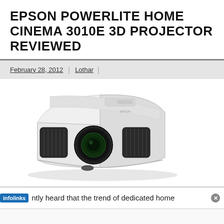EPSON POWERLITE HOME CINEMA 3010E 3D PROJECTOR REVIEWED
February 28, 2012 | Lothar
[Figure (photo): Epson PowerLite Home Cinema 3010E 3D projector, white, viewed from front-left angle showing lens and vents]
infolinks  ntly heard that the trend of dedicated home